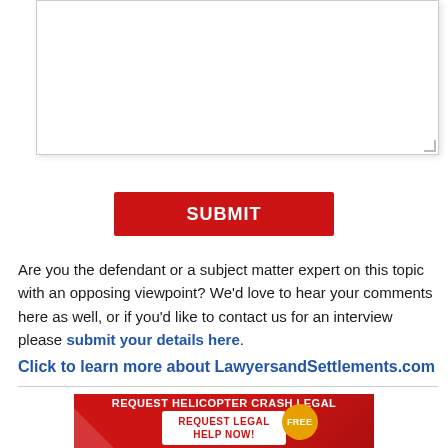[Figure (other): Text area input box with resize handle in bottom-right corner]
SUBMIT
Are you the defendant or a subject matter expert on this topic with an opposing viewpoint? We'd love to hear your comments here as well, or if you'd like to contact us for an interview please submit your details here.
Click to learn more about LawyersandSettlements.com
[Figure (infographic): Red advertisement banner: REQUEST HELICOPTER CRASH LEGAL with REQUEST LEGAL HELP NOW! button and FREE badge]